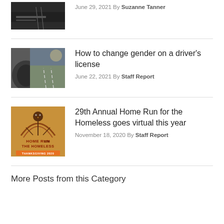[Figure (photo): Dark photo taken from inside a car, road visible]
June 29, 2021 By Suzanne Tanner
[Figure (photo): Photo taken from inside a car showing a road/street view]
How to change gender on a driver's license
June 22, 2021 By Staff Report
[Figure (illustration): Home Run for the Homeless Thanksgiving 2020 event logo on tan/orange background with turkey graphic]
29th Annual Home Run for the Homeless goes virtual this year
November 18, 2020 By Staff Report
More Posts from this Category